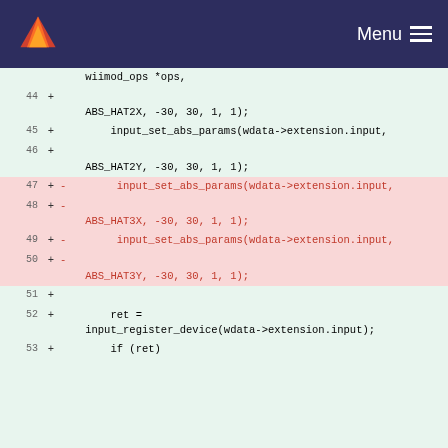[Figure (screenshot): GitLab navigation bar with fox logo and Menu icon]
Code diff view showing lines 44-53 of a source file with additions and deletions related to input_set_abs_params and ABS_HAT constants